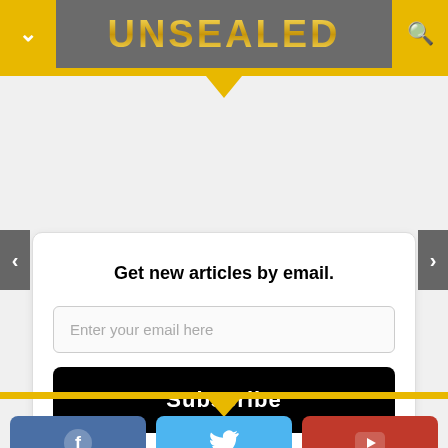UNSEALED
Get new articles by email.
Enter your email here
Subscribe
CONNECT WITH US
185K
7.3K
37.3K